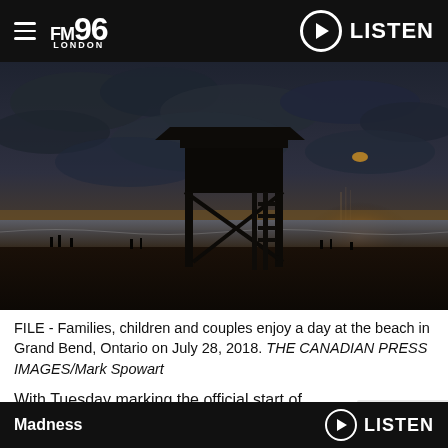FM96 London — LISTEN
[Figure (photo): Beach scene at dusk with a lifeguard tower silhouetted against a dramatic cloudy sky, people visible along the shoreline, lake in background with warm orange/golden horizon glow, Grand Bend Ontario]
FILE - Families, children and couples enjoy a day at the beach in Grand Bend, Ontario on July 28, 2018. THE CANADIAN PRESS IMAGES/Mark Spowart
With Tuesday marking the official start of
Madness — LISTEN